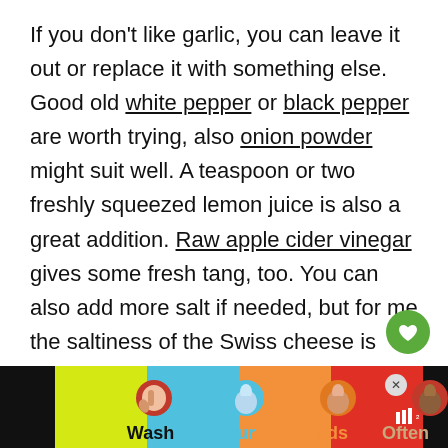If you don't like garlic, you can leave it out or replace it with something else. Good old white pepper or black pepper are worth trying, also onion powder might suit well. A teaspoon or two freshly squeezed lemon juice is also a great addition. Raw apple cider vinegar gives some fresh tang, too. You can also add more salt if needed, but for me the saltiness of the Swiss cheese is enough.
[Figure (infographic): A 'Wash Your Hands Often' advertisement banner at the bottom of the page featuring colorful hand-washing icons on yellow, blue, orange, and red backgrounds with the words Wash, Your, Hands, Often.]